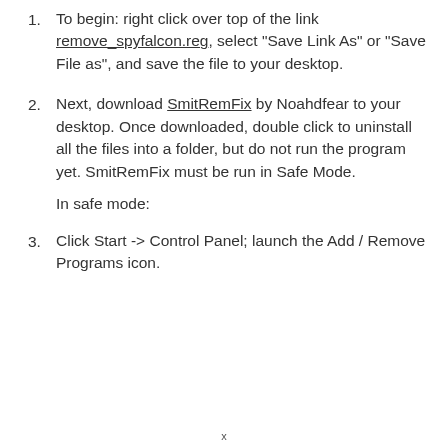To begin: right click over top of the link remove_spyfalcon.reg, select "Save Link As" or "Save File as", and save the file to your desktop.
Next, download SmitRemFix by Noahdfear to your desktop. Once downloaded, double click to uninstall all the files into a folder, but do not run the program yet. SmitRemFix must be run in Safe Mode.
In safe mode:
Click Start -> Control Panel; launch the Add / Remove Programs icon.